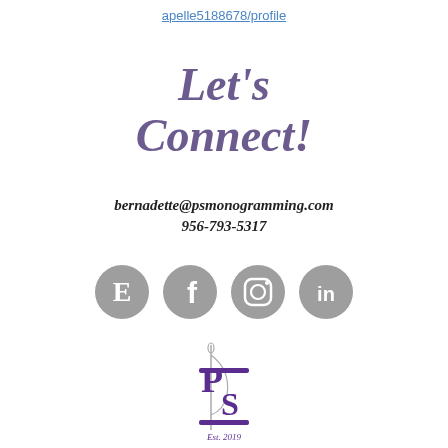apelle5188678/profile
Let's Connect!
bernadette@psmonogramming.com
956-793-5317
[Figure (logo): Four social media icons (Etsy, Facebook, Instagram, LinkedIn) displayed as grey circles with white icons]
[Figure (logo): PS Monogramming logo with needle graphic and 'Est. 2019' text in purple]